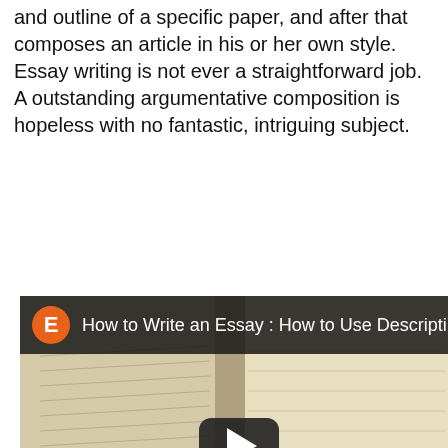and outline of a specific paper, and after that composes an article in his or her own style. Essay writing is not ever a straightforward job. A outstanding argumentative composition is hopeless with no fantastic, intriguing subject.
[Figure (screenshot): YouTube video embed thumbnail showing an open book, with channel icon 'E' in orange circle, title 'How to Write an Essay : How to Use Description', a play button in the center, 'Watch on YouTube' bar at the bottom left, and a 'Pregúntanos' WhatsApp badge at the bottom right.]